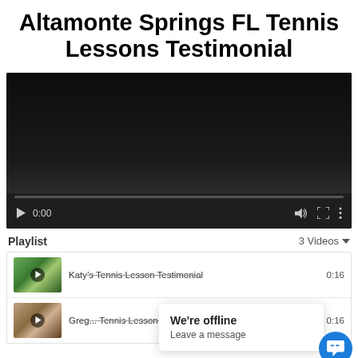Altamonte Springs FL Tennis Lessons Testimonial
[Figure (screenshot): Embedded video player showing a dark/black video frame with playback controls at bottom: play button, timestamp '0:00', volume icon, fullscreen icon, and options icon. Progress bar visible at bottom of video area.]
Playlist   3 Videos
[Figure (screenshot): Playlist panel showing two video thumbnail entries. First: 'Katy's Tennis Lesson Testimonial' with duration 0:16, thumbnail showing outdoor tennis court. Second: 'Greg... Tennis Lesson Testimonial' with duration 0:16, thumbnail showing a person. A chat popup overlay reads 'We're offline / Leave a message' with a blue chat bubble icon.]